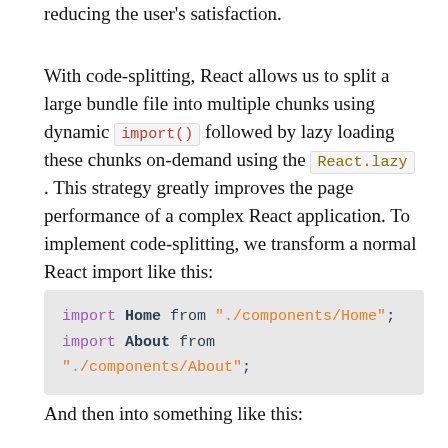reducing the user's satisfaction.
With code-splitting, React allows us to split a large bundle file into multiple chunks using dynamic import() followed by lazy loading these chunks on-demand using the React.lazy . This strategy greatly improves the page performance of a complex React application. To implement code-splitting, we transform a normal React import like this:
import Home from "./components/Home";
import About from "./components/About";
And then into something like this: